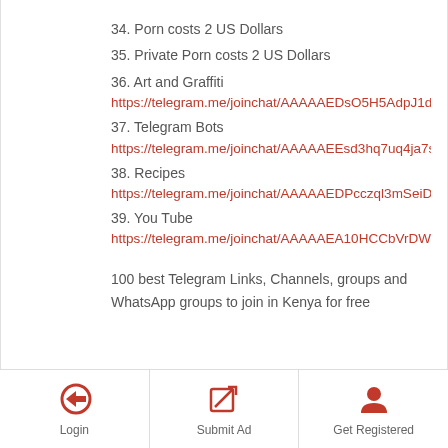34. Porn costs 2 US Dollars
35. Private Porn costs 2 US Dollars
36. Art and Graffiti
https://telegram.me/joinchat/AAAAAEDsO5H5AdpJ1daEog
37. Telegram Bots
https://telegram.me/joinchat/AAAAAEEsd3hq7uq4ja7svg
38. Recipes
https://telegram.me/joinchat/AAAAAEDPcczql3mSeiDM7g
39. You Tube
https://telegram.me/joinchat/AAAAAEA10HCCbVrDWbRY0A
100 best Telegram Links, Channels, groups and WhatsApp groups to join in Kenya for free
Login  Submit Ad  Get Registered